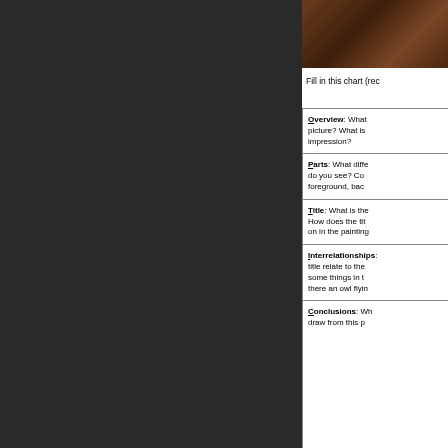[Figure (photo): Dark photograph of a painting, brownish tones, partially visible in upper right corner]
Fill in this chart (rec...
| Category | Questions |
| --- | --- |
| Overview | What... picture? What is... impression? |
| Parts | Parts: What diffe... do you see? Con... foreground, bac... |
| Title | Title: What is the... How does the tit... on in the painting... |
| Interrelationships | Interrelationships... title relate to the... some things in th... there an owl flyin... |
| Conclusions | Conclusions: Wh... draw from this p... |